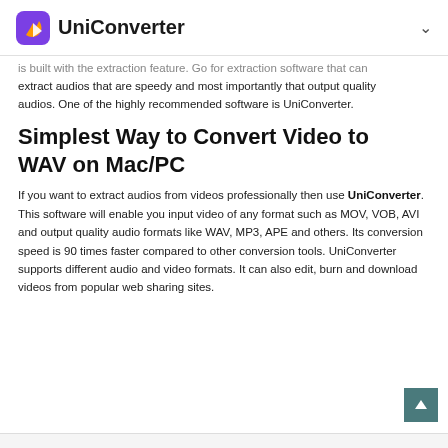UniConverter
is built with the extraction feature. Go for extraction software that can extract audios that are speedy and most importantly that output quality audios. One of the highly recommended software is UniConverter.
Simplest Way to Convert Video to WAV on Mac/PC
If you want to extract audios from videos professionally then use UniConverter. This software will enable you input video of any format such as MOV, VOB, AVI and output quality audio formats like WAV, MP3, APE and others. Its conversion speed is 90 times faster compared to other conversion tools. UniConverter supports different audio and video formats. It can also edit, burn and download videos from popular web sharing sites.